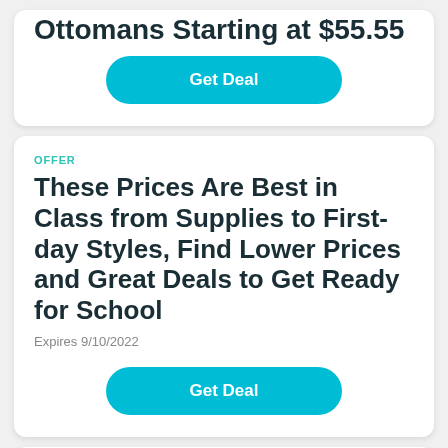Ottomans Starting at $55.55
Get Deal
OFFER
These Prices Are Best in Class from Supplies to First-day Styles, Find Lower Prices and Great Deals to Get Ready for School
Expires 9/10/2022
Get Deal
OFFER
Save on Snacks and Grocery